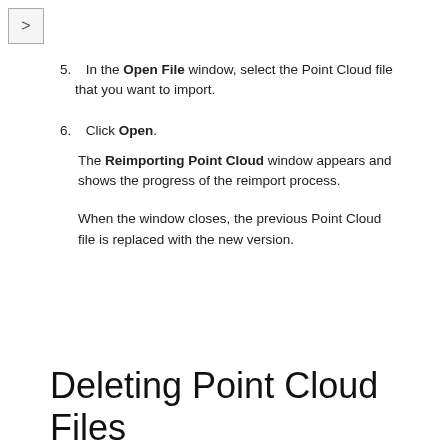5. In the Open File window, select the Point Cloud file that you want to import.
6. Click Open.
The Reimporting Point Cloud window appears and shows the progress of the reimport process.
When the window closes, the previous Point Cloud file is replaced with the new version.
Deleting Point Cloud Files